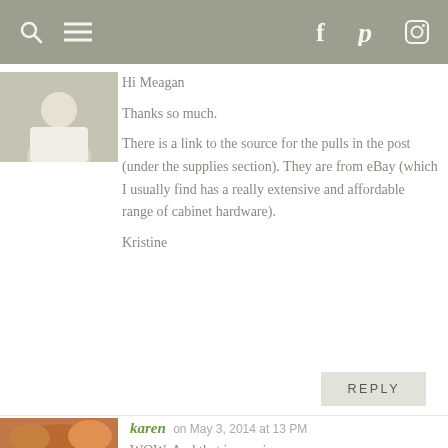Navigation bar with search, menu, Facebook, Pinterest, Instagram icons
[Figure (photo): Small avatar photo of a person in white top, cropped]
Hi Meagan
Thanks so much.
There is a link to the source for the pulls in the post (under the supplies section). They are from eBay (which I usually find has a really extensive and affordable range of cabinet hardware). Kristine
REPLY
[Figure (photo): Avatar photo of karen with red-highlighted hair]
karen on May 3, 2014 at 13 PM
WOW. And that is a serious